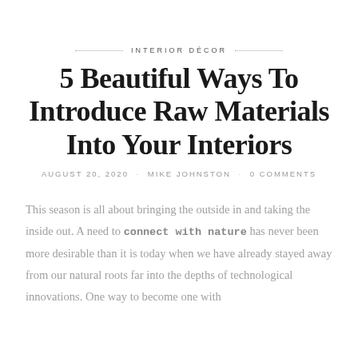INTERIOR DÉCOR
5 Beautiful Ways To Introduce Raw Materials Into Your Interiors
AUGUST 20, 2020 · MIKE JOHNSTON · 0 COMMENTS
This season is all about bringing the outside in and taking the inside out. A need to connect with nature has never been more desirable than it is today when we have already stayed away from our natural roots far into the depths of technological innovations. One way to become one with